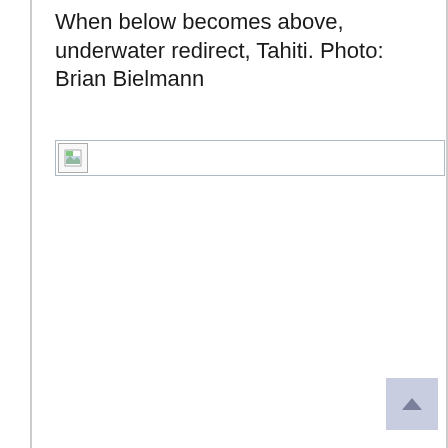When below becomes above, underwater redirect, Tahiti. Photo: Brian Bielmann
[Figure (photo): Broken/missing image placeholder showing a small image icon with a landscape thumbnail icon in the top-left corner of the image area]